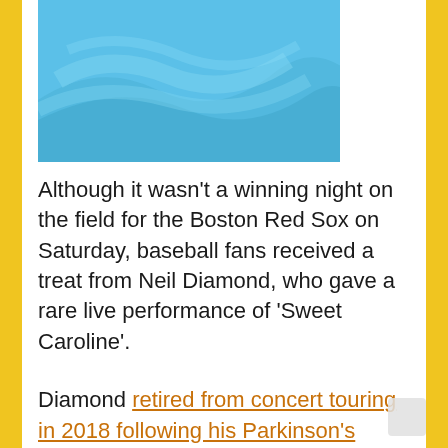[Figure (photo): Blue textured/swirled image, partially visible at the top of the page]
Although it wasn't a winning night on the field for the Boston Red Sox on Saturday, baseball fans received a treat from Neil Diamond, who gave a rare live performance of 'Sweet Caroline'.
Diamond retired from concert touring in 2018 following his Parkinson's disease diagnosis.
This post-retirement appearance is the first time that Diamond has performed at Fenway Park since 2013. He performed the